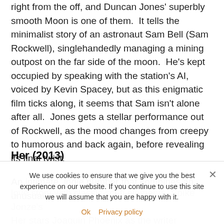right from the off, and Duncan Jones' superbly smooth Moon is one of them.  It tells the minimalist story of an astronaut Sam Bell (Sam Rockwell), singlehandedly managing a mining outpost on the far side of the moon.  He's kept occupied by speaking with the station's AI, voiced by Kevin Spacey, but as this enigmatic film ticks along, it seems that Sam isn't alone after all.  Jones gets a stellar performance out of Rockwell, as the mood changes from creepy to humorous and back again, before revealing its final twist.
Her (2013)
An intimate, indie number that combines an unusual love story with classic sci-fi elements, Spike Jonze's Her stars Joaquin Phoenix as the writer Theodore, with Scarlett Johansson providing the voice of the titular Her, breathing life into Sam, an operating system that befriends the lonely writer, Theodore
We use cookies to ensure that we give you the best experience on our website. If you continue to use this site we will assume that you are happy with it.